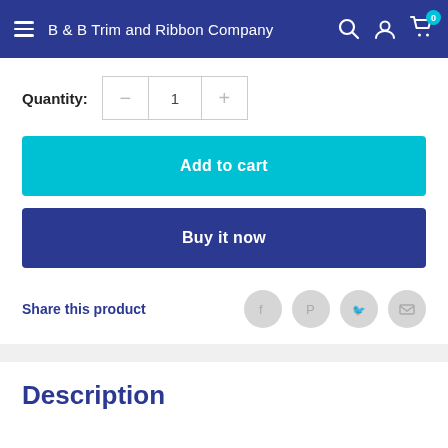B & B Trim and Ribbon Company
Quantity: 1
Add to cart
Buy it now
Share this product
Description